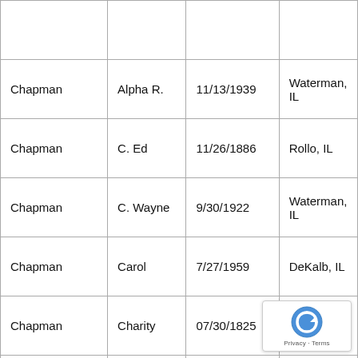| Chapman | Alpha R. | 11/13/1939 | Waterman, IL |
| Chapman | C. Ed | 11/26/1886 | Rollo, IL |
| Chapman | C. Wayne | 9/30/1922 | Waterman, IL |
| Chapman | Carol | 7/27/1959 | DeKalb, IL |
| Chapman | Charity | 07/30/1825 | Kent, England |
|  |  |  |  |